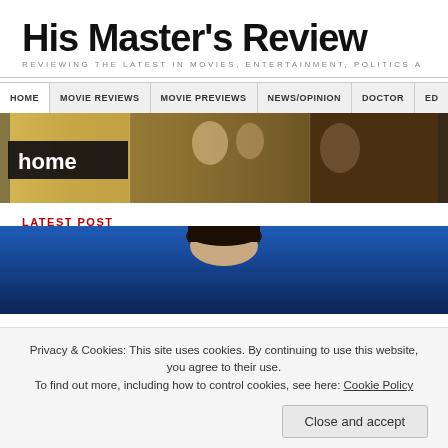His Master's Review
REVIEWING THE LATEST IN MOVIES, ENTERTAINMENT, POLITICS A
HOME  MOVIE REVIEWS  MOVIE PREVIEWS  NEWS/OPINION  DOCTOR  ED
[Figure (photo): Hero banner with cinematic collage of movie stills and the word 'home' overlaid]
LATEST POST
[Figure (photo): Photo of a man with dark hair against a blue background]
Privacy & Cookies: This site uses cookies. By continuing to use this website, you agree to their use.
To find out more, including how to control cookies, see here: Cookie Policy
Close and accept